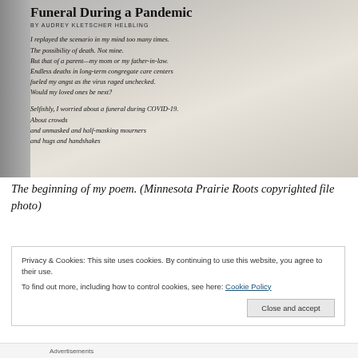[Figure (photo): A photo of an open book showing a poem titled 'Funeral During a Pandemic' by Audrey Kletscher Helbling, with visible stanzas of the poem text.]
The beginning of my poem. (Minnesota Prairie Roots copyrighted file photo)
Privacy & Cookies: This site uses cookies. By continuing to use this website, you agree to their use.
To find out more, including how to control cookies, see here: Cookie Policy
Advertisements